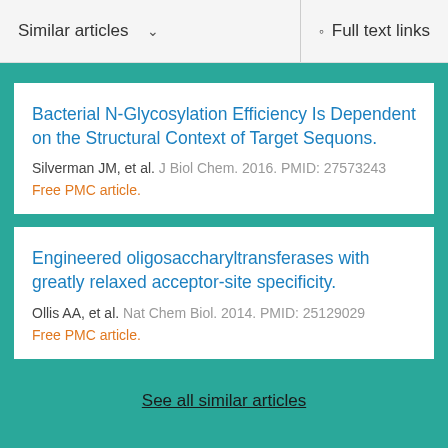Similar articles  ∨    Full text links
Bacterial N-Glycosylation Efficiency Is Dependent on the Structural Context of Target Sequons.
Silverman JM, et al. J Biol Chem. 2016. PMID: 27573243
Free PMC article.
Engineered oligosaccharyltransferases with greatly relaxed acceptor-site specificity.
Ollis AA, et al. Nat Chem Biol. 2014. PMID: 25129029
Free PMC article.
See all similar articles